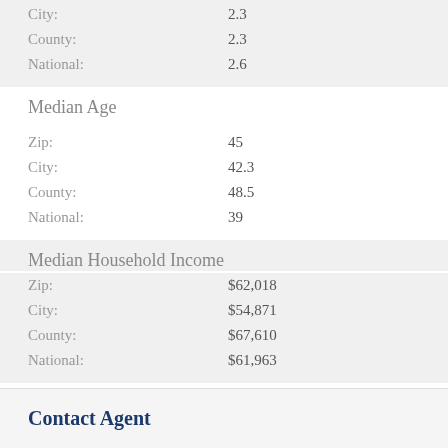|  |  |
| --- | --- |
| City: | 2.3 |
| County: | 2.3 |
| National: | 2.6 |
Median Age
|  |  |
| --- | --- |
| Zip: | 45 |
| City: | 42.3 |
| County: | 48.5 |
| National: | 39 |
Median Household Income
|  |  |
| --- | --- |
| Zip: | $62,018 |
| City: | $54,871 |
| County: | $67,610 |
| National: | $61,963 |
Average Income
|  |  |
| --- | --- |
| Zip: | $39,965 |
| City: | $34,484 |
| County: | $45,862 |
| National: | $33,235 |
Contact Agent